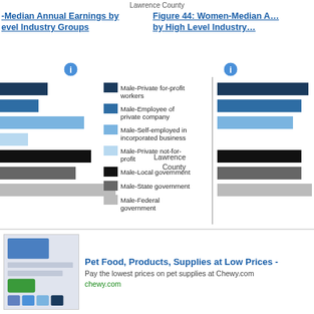Lawrence County
Men-Median Annual Earnings by High Level Industry Groups
Figure 44: Women-Median Annual Earnings by High Level Industry Groups
[Figure (bar-chart): Horizontal bar chart showing male median annual earnings by class of worker for Lawrence County, with a legend listing 7 worker categories in shades of blue, black, and gray.]
[Figure (screenshot): Advertisement banner for Chewy.com: Pet Food, Products, Supplies at Low Prices. Pay the lowest prices on pet supplies at Chewy.com. chewy.com. Includes a circular navigation button and a close button.]